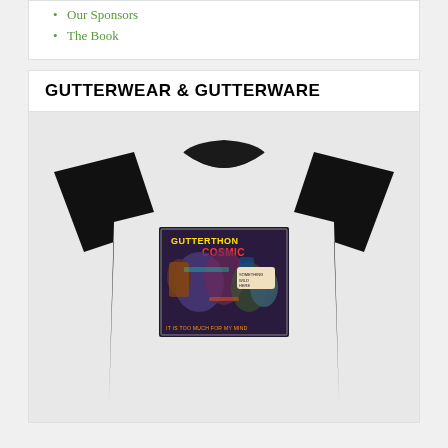Our Sponsors
The Book
GUTTERWEAR & GUTTERWARE
[Figure (photo): Black t-shirt with a comic book style graphic printed on the front reading 'GUTTERTHON COSMIC' with colorful illustrations of characters and text 'IT IS TOO MUCH FOR MY MIND']